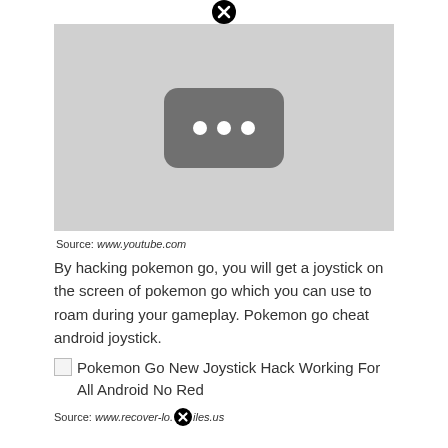[Figure (screenshot): Video placeholder with YouTube-style icon showing three dots, with a close (X) button at top center, on a gray background.]
Source: www.youtube.com
By hacking pokemon go, you will get a joystick on the screen of pokemon go which you can use to roam during your gameplay. Pokemon go cheat android joystick.
[Figure (photo): Broken image placeholder with text: Pokemon Go New Joystick Hack Working For All Android No Red]
Source: www.recover-lo...iles.us